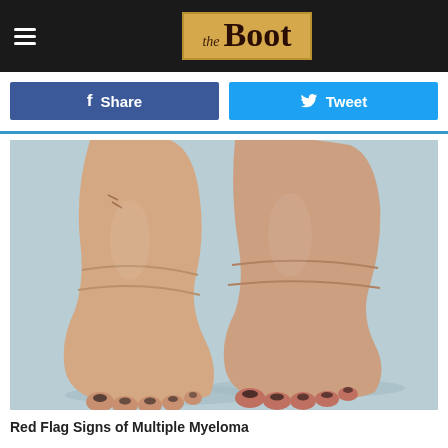the Boot
Share | Tweet
[Figure (photo): A medical photograph showing two severely swollen human feet and ankles viewed from the front, displayed against a light blue-grey background. The feet show marked edema (swelling) of both ankles and feet, with darkened/discolored toenails.]
Red Flag Signs of Multiple Myeloma